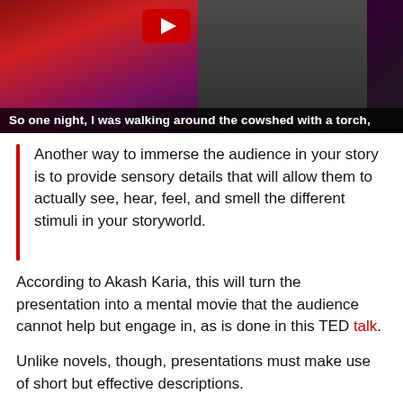[Figure (screenshot): Screenshot of a TED talk video thumbnail showing a speaker on stage with a YouTube play button overlay. Subtitle reads: 'So one night, I was walking around the cowshed with a torch,']
Another way to immerse the audience in your story is to provide sensory details that will allow them to actually see, hear, feel, and smell the different stimuli in your storyworld.
According to Akash Karia, this will turn the presentation into a mental movie that the audience cannot help but engage in, as is done in this TED talk.
Unlike novels, though, presentations must make use of short but effective descriptions.